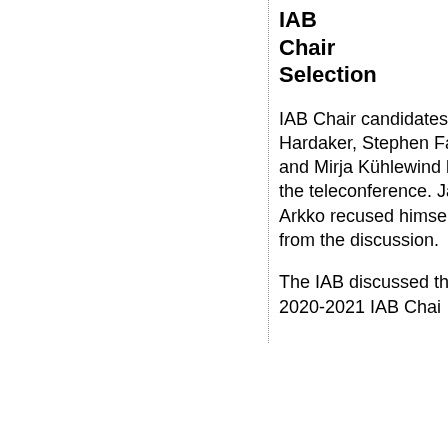IAB Chair Selection
IAB Chair candidates Wes Hardaker, Stephen Farrell, and Mirja Kühlewind left the teleconference. Jari Arkko recused himself from the discussion.
The IAB discussed the 2020-2021 IAB Chair